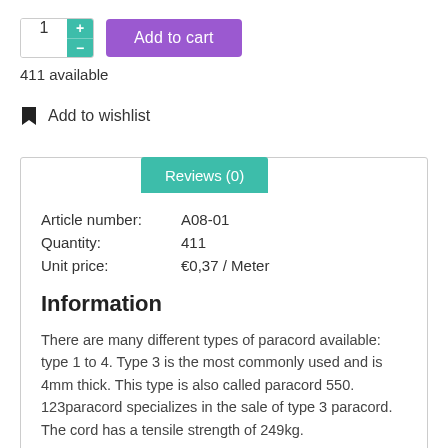[Figure (other): Quantity selector with +/- buttons and Add to cart purple button]
411 available
Add to wishlist
Reviews (0)
| Article number: | A08-01 |
| Quantity: | 411 |
| Unit price: | €0,37 / Meter |
Information
There are many different types of paracord available: type 1 to 4. Type 3 is the most commonly used and is 4mm thick. This type is also called paracord 550. 123paracord specializes in the sale of type 3 paracord. The cord has a tensile strength of 249kg.